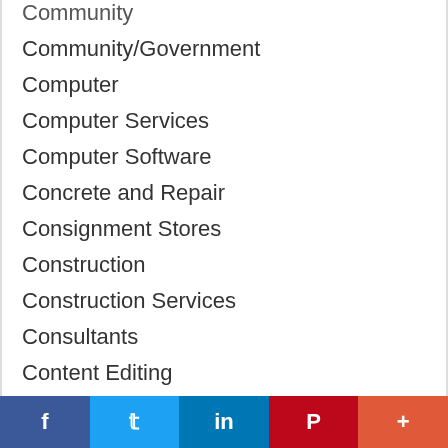Community
Community/Government
Computer
Computer Services
Computer Software
Concrete and Repair
Consignment Stores
Construction
Construction Services
Consultants
Content Editing
Content Writing
Convenience Stores
Cooling
[Figure (other): Social media share buttons: Facebook, Twitter, LinkedIn, Pinterest, More]